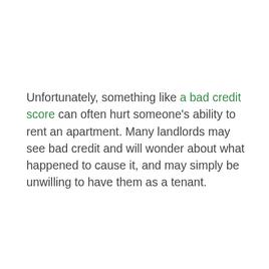Unfortunately, something like a bad credit score can often hurt someone's ability to rent an apartment. Many landlords may see bad credit and will wonder about what happened to cause it, and may simply be unwilling to have them as a tenant.